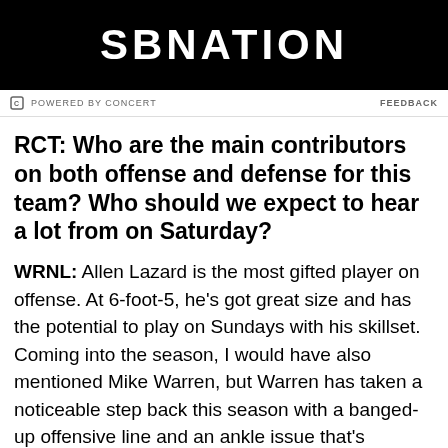SBNATION
POWERED BY CONCERT   FEEDBACK
RCT: Who are the main contributors on both offense and defense for this team? Who should we expect to hear a lot from on Saturday?
WRNL: Allen Lazard is the most gifted player on offense. At 6-foot-5, he's got great size and has the potential to play on Sundays with his skillset. Coming into the season, I would have also mentioned Mike Warren, but Warren has taken a noticeable step back this season with a banged-up offensive line and an ankle issue that's bothered him the past couple weeks. True freshman David Montgomery has become the main back for ISU, but he was pulled with concussion-